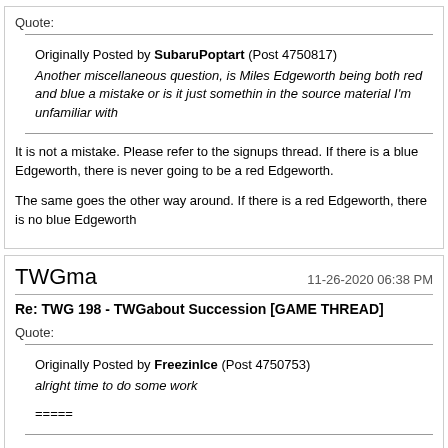Quote:
Originally Posted by SubaruPoptart (Post 4750817) Another miscellaneous question, is Miles Edgeworth being both red and blue a mistake or is it just somethin in the source material I'm unfamiliar with
It is not a mistake. Please refer to the signups thread. If there is a blue Edgeworth, there is never going to be a red Edgeworth.
The same goes the other way around. If there is a red Edgeworth, there is no blue Edgeworth
TWGma
11-26-2020 06:38 PM
Re: TWG 198 - TWGabout Succession [GAME THREAD]
Quote:
Originally Posted by FreezinIce (Post 4750753) alright time to do some work
=====